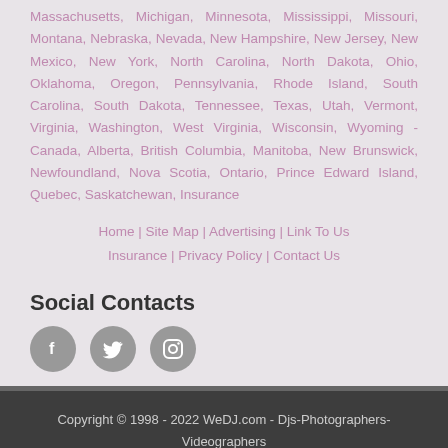Massachusetts, Michigan, Minnesota, Mississippi, Missouri, Montana, Nebraska, Nevada, New Hampshire, New Jersey, New Mexico, New York, North Carolina, North Dakota, Ohio, Oklahoma, Oregon, Pennsylvania, Rhode Island, South Carolina, South Dakota, Tennessee, Texas, Utah, Vermont, Virginia, Washington, West Virginia, Wisconsin, Wyoming - Canada, Alberta, British Columbia, Manitoba, New Brunswick, Newfoundland, Nova Scotia, Ontario, Prince Edward Island, Quebec, Saskatchewan, Insurance
Home | Site Map | Advertising | Link To Us Insurance | Privacy Policy | Contact Us
Social Contacts
[Figure (other): Three circular grey social media icons: Facebook (f), Twitter (bird), Instagram (camera)]
Copyright © 1998 - 2022 WeDJ.com - Djs-Photographers-Videographers
Page last updated on 09/03/2022